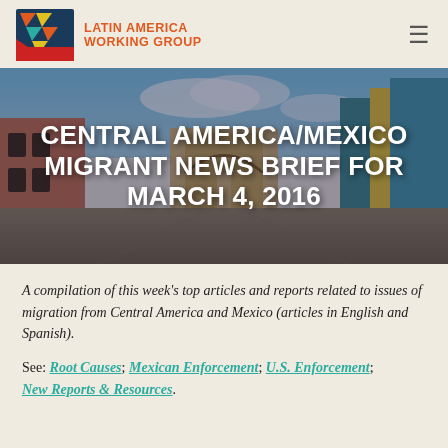LATIN AMERICA WORKING GROUP
[Figure (photo): Street view of a colorful Latin American colonial city with an archway in the background]
CENTRAL AMERICA/MEXICO MIGRANT NEWS BRIEF FOR MARCH 4, 2016
A compilation of this week's top articles and reports related to issues of migration from Central America and Mexico (articles in English and Spanish).
See: Root Causes; Mexican Enforcement; U.S. Enforcement; New Reports & Resources.